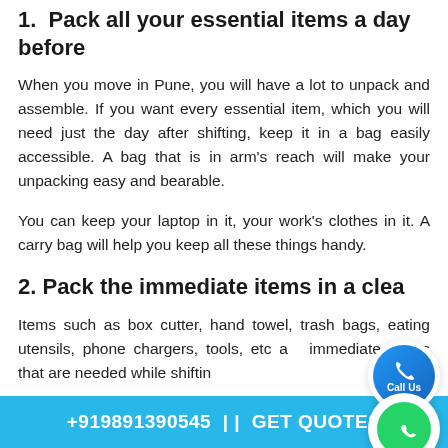1.  Pack all your essential items a day before
When you move in Pune, you will have a lot to unpack and assemble. If you want every essential item, which you will need just the day after shifting, keep it in a bag easily accessible. A bag that is in arm's reach will make your unpacking easy and bearable.
You can keep your laptop in it, your work's clothes in it. A carry bag will help you keep all these things handy.
2. Pack the immediate items in a clear
Items such as box cutter, hand towel, trash bags, eating utensils, phone chargers, tools, etc a immediate things that are needed while shiftin.
+919891390545 | | GET QUOTES